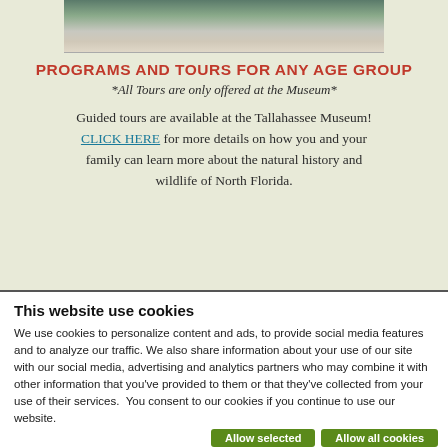[Figure (photo): Top portion of a photo showing people's feet/lower legs standing on what appears to be a wooden boardwalk or deck, partially cropped at top of page]
PROGRAMS AND TOURS FOR ANY AGE GROUP
*All Tours are only offered at the Museum*
Guided tours are available at the Tallahassee Museum! CLICK HERE for more details on how you and your family can learn more about the natural history and wildlife of North Florida.
This website use cookies
We use cookies to personalize content and ads, to provide social media features and to analyze our traffic. We also share information about your use of our site with our social media, advertising and analytics partners who may combine it with other information that you've provided to them or that they've collected from your use of their services.  You consent to our cookies if you continue to use our website.